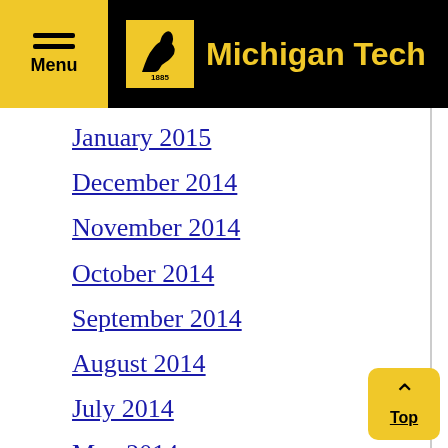Menu | Michigan Tech
January 2015
December 2014
November 2014
October 2014
September 2014
August 2014
July 2014
May 2014
April 2014
March 2014
January 2014